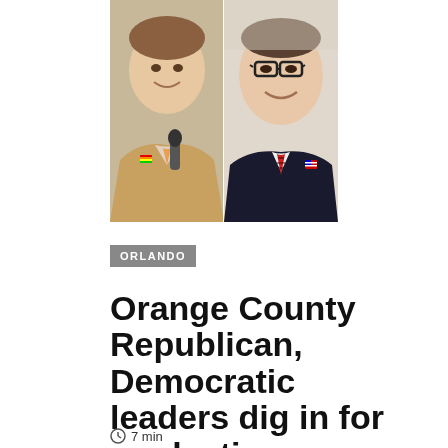[Figure (photo): Two men side by side: left man in tan blazer with rainbow pin holding microphone, right man in dark suit with American flag pin and red striped tie wearing glasses]
ORLANDO
Orange County Republican, Democratic leaders dig in for re-election challenges
7 min